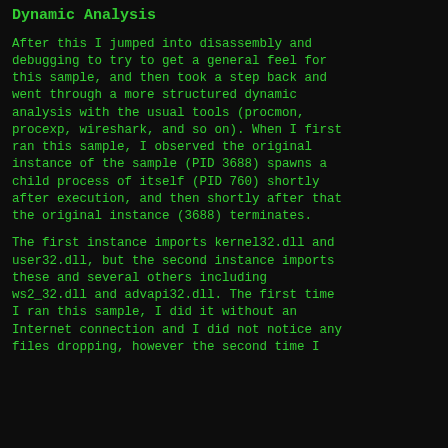Dynamic Analysis
After this I jumped into disassembly and debugging to try to get a general feel for this sample, and then took a step back and went through a more structured dynamic analysis with the usual tools (procmon, procexp, wireshark, and so on). When I first ran this sample, I observed the original instance of the sample (PID 3688) spawns a child process of itself (PID 760) shortly after execution, and then shortly after that the original instance (3688) terminates.
The first instance imports kernel32.dll and user32.dll, but the second instance imports these and several others including ws2_32.dll and advapi32.dll. The first time I ran this sample, I did it without an Internet connection and I did not notice any files dropping, however the second time I